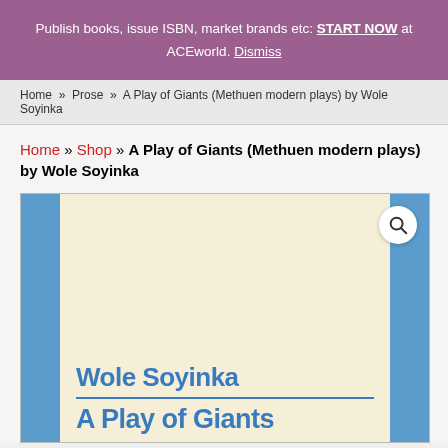Publish books, issue ISBN, market brands etc: START NOW at ACEworld. Dismiss
Home » Prose » A Play of Giants (Methuen modern plays) by Wole Soyinka
Home » Shop » A Play of Giants (Methuen modern plays) by Wole Soyinka
[Figure (photo): Book cover of 'A Play of Giants' by Wole Soyinka, Methuen modern plays edition. Blue border with cream/beige background showing author name 'Wole Soyinka' and title 'A Play of Giants' in bold blue text.]